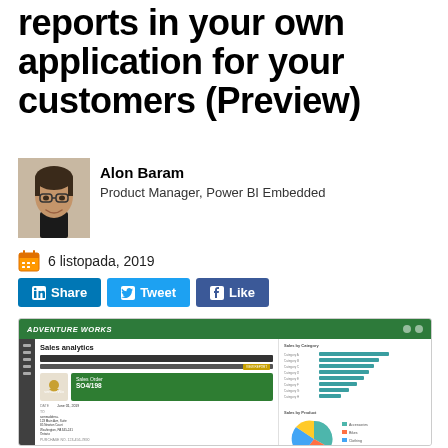reports in your own application for your customers (Preview)
[Figure (photo): Headshot photo of Alon Baram]
Alon Baram
Product Manager, Power BI Embedded
6 listopada, 2019
[Figure (screenshot): Screenshot of Adventure Works Power BI Embedded dashboard showing Sales analytics with Sales Order SO4/198, a bar chart of sales by category, and a pie chart of sales by product.]